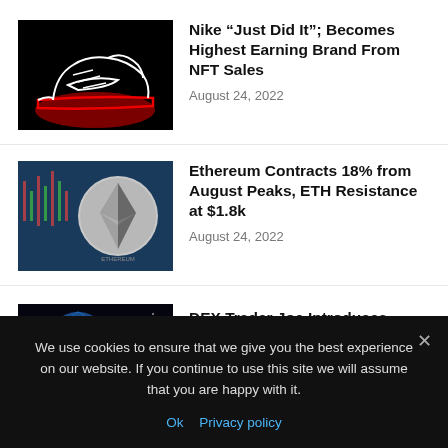[Figure (photo): Nike sneaker neon sign on black background]
Nike “Just Did It”; Becomes Highest Earning Brand From NFT Sales
August 24, 2022
[Figure (photo): Ethereum coin with stock chart candlestick background]
Ethereum Contracts 18% from August Peaks, ETH Resistance at $1.8k
August 24, 2022
[Figure (photo): Earth globe with DEX text overlay on dark background]
DEX Trader Joe Introduces “Liquidity Book”: A Next
We use cookies to ensure that we give you the best experience on our website. If you continue to use this site we will assume that you are happy with it.
Ok  Privacy policy